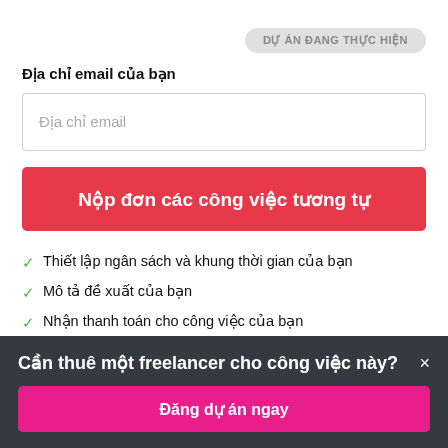[Figure (screenshot): Pill-shaped grey button with Vietnamese text 'DỰ ÁN ĐANG THỰC HIỆN' in upper right]
Địa chỉ email của bạn
[Figure (screenshot): Email input text field with placeholder text 'Địa chỉ email']
[Figure (screenshot): Red submit button with white text 'Nộp đơn các công việc tương tự']
Thiết lập ngân sách và khung thời gian của bạn
Mô tả đề xuất của bạn
Nhận thanh toán cho công việc của bạn
Đăng ký miễn phí và chào giá công việc
Cần thuê một freelancer cho công việc này? ×
[Figure (screenshot): Pink button with white text 'Đăng dự án ngay']